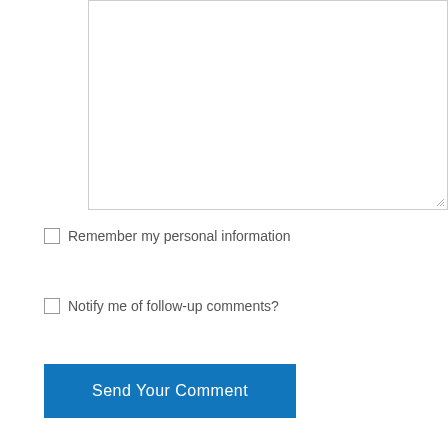[Figure (screenshot): A text area input box with a resize handle in the bottom-right corner]
Remember my personal information
Notify me of follow-up comments?
Send Your Comment